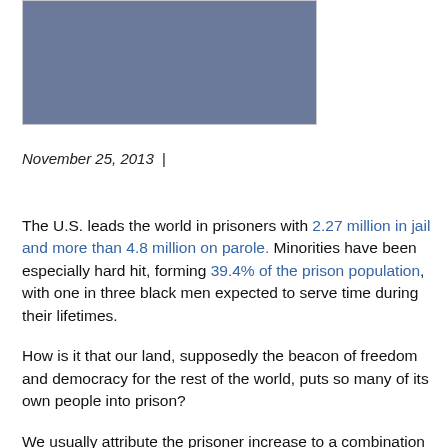[Figure (photo): A photograph or image (partially visible) with a bluish-grey rectangular area, framed with a light border.]
November 25, 2013  |
The U.S. leads the world in prisoners with 2.27 million in jail and more than 4.8 million on parole. Minorities have been especially hard hit, forming 39.4% of the prison population, with one in three black men expected to serve time during their lifetimes.
How is it that our land, supposedly the beacon of freedom and democracy for the rest of the world, puts so many of its own people into prison?
We usually attribute the prisoner increase to a combination of overt racism and Nixon's war on drugs, followed by Rockefeller's "three strikes"